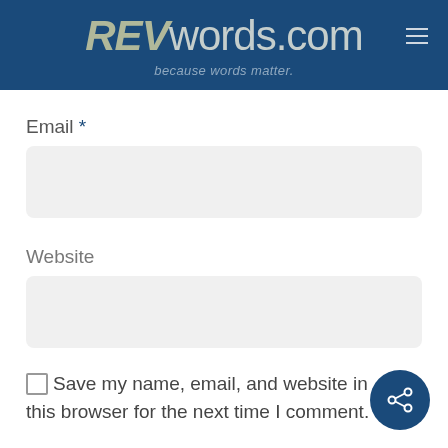REVwords.com — because words matter.
Email *
Website
Save my name, email, and website in this browser for the next time I comment.